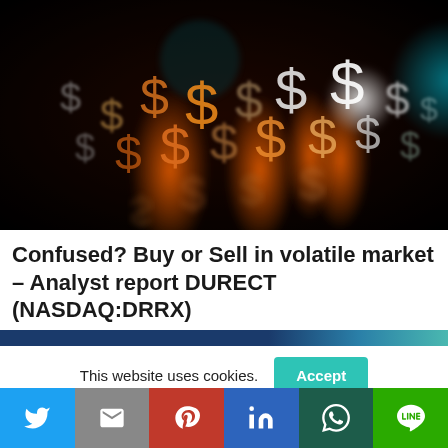[Figure (photo): Dark background with glowing and blurred dollar signs in orange, white, and teal colors arranged across the image.]
Confused? Buy or Sell in volatile market – Analyst report DURECT (NASDAQ:DRRX)
This website uses cookies.
[Figure (screenshot): A thin banner strip with dark blue to teal gradient, partially visible.]